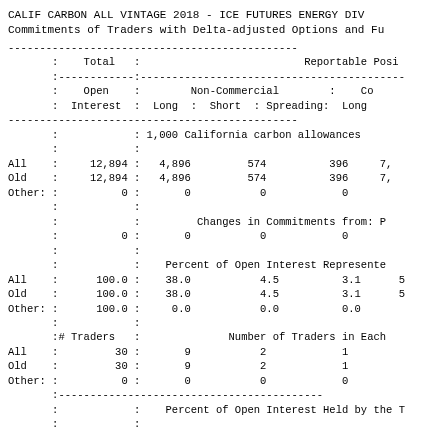CALIF CARBON ALL VINTAGE 2018 - ICE FUTURES ENERGY DIV
Commitments of Traders with Delta-adjusted Options and Fu
|  | Total |  | Reportable Posi |  | Non-Commercial | Co | Open Interest | Long | Short | Spreading: | Long |
| --- | --- | --- | --- | --- | --- | --- | --- | --- | --- | --- | --- |
|  | : 1,000 California carbon allowances |  |  |  |
| All | 12,894: | 4,896 | 574 | 396 | 7, |
| Old | 12,894: | 4,896 | 574 | 396 | 7, |
| Other: | 0: | 0 | 0 | 0 |  |
|  |  | Changes in Commitments from: P |  |  |  |
|  | 0: | 0 | 0 | 0 |  |
|  |  | Percent of Open Interest Represente |  |  |  |
| All | 100.0: | 38.0 | 4.5 | 3.1 | 5 |
| Old | 100.0: | 38.0 | 4.5 | 3.1 | 5 |
| Other: | 100.0: | 0.0 | 0.0 | 0.0 |  |
|  | # Traders : |  | Number of Traders in Each |  |  |
| All | 30: | 9 | 2 | 1 |  |
| Old | 30: | 9 | 2 | 1 |  |
| Other: | 0: | 0 | 0 | 0 |  |
|  |  | Percent of Open Interest Held by the T |  |  |  |